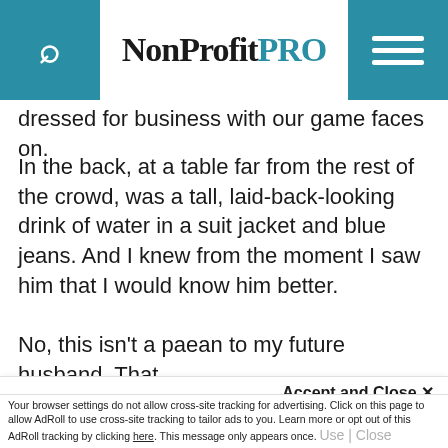NonProfit PRO
dressed for business with our game faces on.
In the back, at a table far from the rest of the crowd, was a tall, laid-back-looking drink of water in a suit jacket and blue jeans. And I knew from the moment I saw him that I would know him better.
No, this isn't a paean to my future husband. That
This site uses cookies for tracking purposes. By continuing to browse our website, you agree to the storing of first- and third-party cookies on your device to enhance site navigation, analyze site
usage, and assist in our marketing and
Accept and Close ✕
Your browser settings do not allow cross-site tracking for advertising. Click on this page to allow AdRoll to use cross-site tracking to tailor ads to you. Learn more or opt out of this AdRoll tracking by clicking here. This message only appears once.